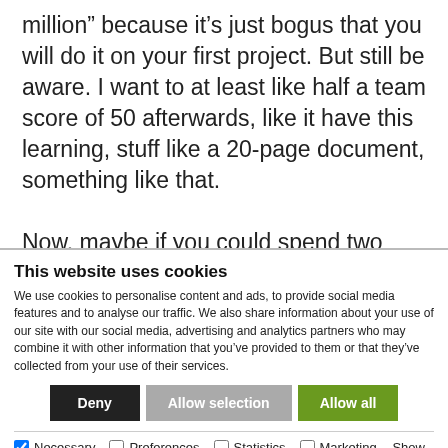million" because it's just bogus that you will do it on your first project. But still be aware. I want to at least like half a team score of 50 afterwards, like it have this learning, stuff like a 20-page document, something like that.

Now, maybe if you could spend two more minutes before we wrap-up, just giving some – you mentioned a lot of resource. Do we
This website uses cookies
We use cookies to personalise content and ads, to provide social media features and to analyse our traffic. We also share information about your use of our site with our social media, advertising and analytics partners who may combine it with other information that you've provided to them or that they've collected from your use of their services.
Deny | Allow selection | Allow all
Necessary  Preferences  Statistics  Marketing  Show details